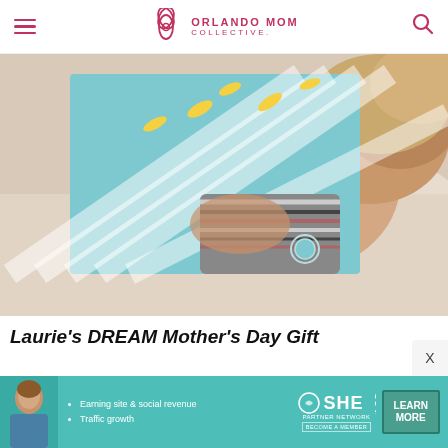ORLANDO MOM COLLECTIVE.
[Figure (photo): A woman lying on white bedding, partially obscuring her face with a light blue striped gift box decorated with yellow sun/lightning bolt designs. She is wearing a striped multicolor top.]
Laurie's DREAM Mother's Day Gift
[Figure (infographic): Advertisement banner for SHE Partner Network with teal background. Shows a woman, bullet points: Earning site & social revenue, Traffic growth. SHE Partner Network logo and LEARN MORE button.]